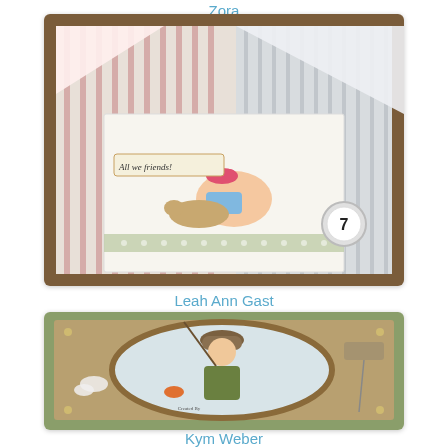Zora
[Figure (photo): Handmade greeting card featuring a boy sitting on the ground with a dog, decorative striped paper background, banner reading 'All we friends', and a bottle cap with number 7. Card has layered paper elements in pink, green, and gray tones.]
Leah Ann Gast
[Figure (photo): Handmade card featuring a Magnolia Tilda-style girl in a fishing outfit holding a fishing rod, placed on green and brown layered paper with oval frame, butterfly embellishment, ribbons, and small tag. Card has earthy green and brown tones.]
Kym Weber